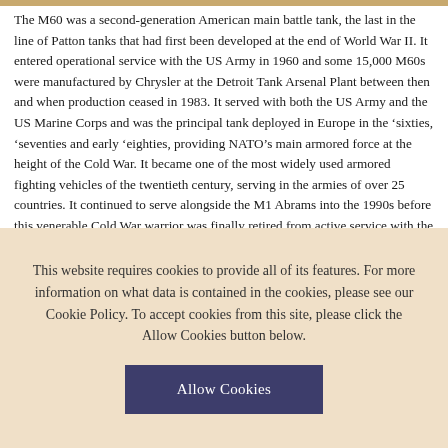The M60 was a second-generation American main battle tank, the last in the line of Patton tanks that had first been developed at the end of World War II. It entered operational service with the US Army in 1960 and some 15,000 M60s were manufactured by Chrysler at the Detroit Tank Arsenal Plant between then and when production ceased in 1983. It served with both the US Army and the US Marine Corps and was the principal tank deployed in Europe in the ‘sixties, ‘seventies and early ‘eighties, providing NATO’s main armored force at the height of the Cold War. It became one of the most widely used armored fighting vehicles of the twentieth century, serving in the armies of over 25 countries. It continued to serve alongside the M1 Abrams into the 1990s before this venerable Cold War warrior was finally retired from active service with the US military in 1997.
This volume charts the development of the M60 from its origins in World War II to the Cold War. It focuses on its service with the US military and other NATO
This website requires cookies to provide all of its features. For more information on what data is contained in the cookies, please see our Cookie Policy. To accept cookies from this site, please click the Allow Cookies button below.